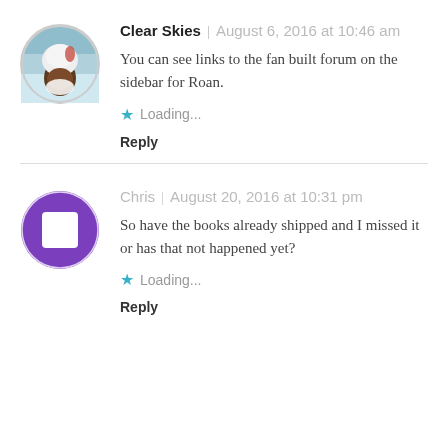[Figure (illustration): Circular avatar showing an illustrated anime-style character with dark skin and white/red hair, on a blue background]
Clear Skies | August 6, 2016 at 10:46 am
You can see links to the fan built forum on the sidebar for Roan.
Loading...
Reply
[Figure (illustration): Circular avatar with purple background and white square/stop icon in the center]
Chris | August 20, 2016 at 10:31 pm
So have the books already shipped and I missed it or has that not happened yet?
Loading...
Reply